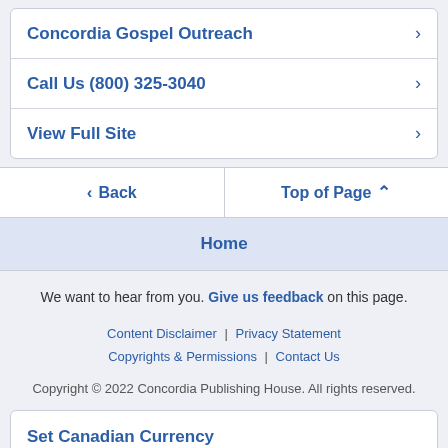Concordia Gospel Outreach
Call Us (800) 325-3040
View Full Site
Back
Top of Page
Home
We want to hear from you. Give us feedback on this page.
Content Disclaimer | Privacy Statement
Copyrights & Permissions | Contact Us
Copyright © 2022 Concordia Publishing House. All rights reserved.
Set Canadian Currency